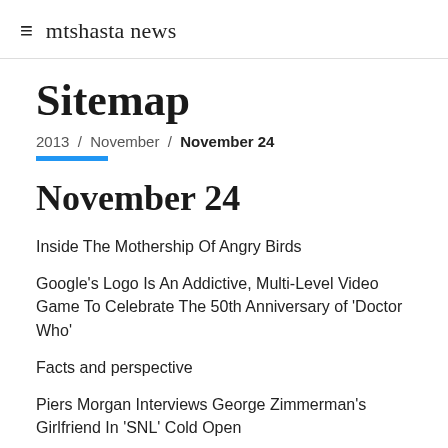≡ mtshasta news
Sitemap
2013 / November / November 24
November 24
Inside The Mothership Of Angry Birds
Google's Logo Is An Addictive, Multi-Level Video Game To Celebrate The 50th Anniversary of 'Doctor Who'
Facts and perspective
Piers Morgan Interviews George Zimmerman's Girlfriend In 'SNL' Cold Open
Allocations to bonds are not all created the same
John F. Kennedy's Cars